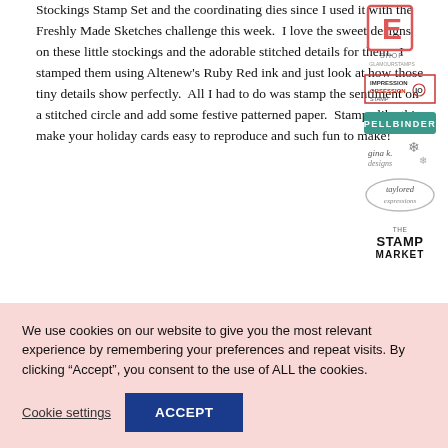Stockings Stamp Set and the coordinating dies since I used it with the Freshly Made Sketches challenge this week.  I love the sweet designs on these little stockings and the adorable stitched details for them.  I stamped them using Altenew's Ruby Red ink and just look at how those tiny details show perfectly.  All I had to do was stamp the sentiment on a stitched circle and add some festive patterned paper.  Stamps like this make your holiday cards easy to reproduce and such fun to make!
[Figure (logo): E Shop Glamour Stamps logo]
[Figure (logo): Impression Obsession Stamp logo]
[Figure (logo): Teal/green brand logo]
[Figure (logo): Gina K. Designs logo with snowflakes]
[Figure (logo): Taylored Expressions logo]
[Figure (logo): The Stamp Market logo]
We use cookies on our website to give you the most relevant experience by remembering your preferences and repeat visits. By clicking “Accept”, you consent to the use of ALL the cookies.
Cookie settings
ACCEPT